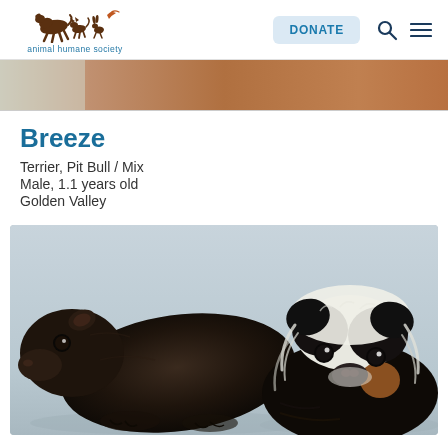Animal Humane Society — DONATE (navigation bar with search and menu icons)
[Figure (photo): Partial top photo of a dog with brownish-orange fur, cropped to just show the back/top portion]
Breeze
Terrier, Pit Bull / Mix
Male, 1.1 years old
Golden Valley
[Figure (photo): Two guinea pigs on a light blue/gray background. Left: a solid dark brown/black short-haired guinea pig facing left. Right: a long-haired black, white, and tan guinea pig facing the camera.]